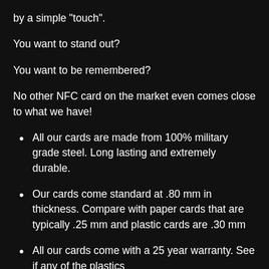by a simple "touch".
You want to stand out?
You want to be remembered?
No other NFC card on the market even comes close to what we have!
All our cards are made from 100% military grade steel.  Long lasting and extremely durable.
Our cards come standard at .80 mm in thickness.  Compare with paper cards that are typically .25 mm and plastic cards are .30 mm
All our cards come with a 25 year warranty.  See if any of the plastics